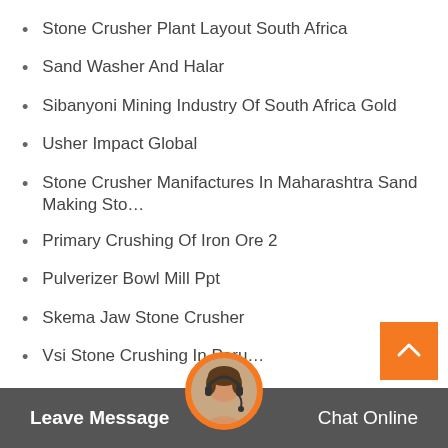Stone Crusher Plant Layout South Africa
Sand Washer And Halar
Sibanyoni Mining Industry Of South Africa Gold
Usher Impact Global
Stone Crusher Manifactures In Maharashtra Sand Making Sto…
Primary Crushing Of Iron Ore 2
Pulverizer Bowl Mill Ppt
Skema Jaw Stone Crusher
Vsi Stone Crushing In Peru…